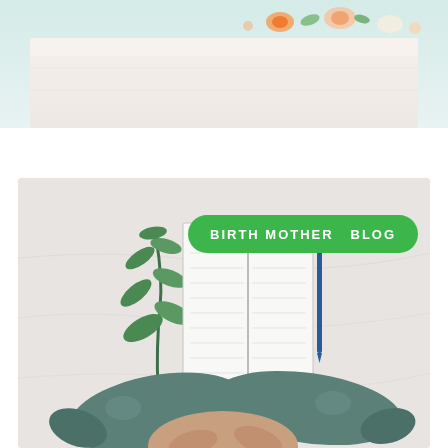[Figure (photo): Top portion of a white cake with floral decorations on top, photographed from the side, cropped to show only the upper half]
[Figure (photo): Pregnant woman in teal/green leggings sitting cross-legged on a white bed, viewed from above, with an open notebook and a green plant branch beside her. A green pill-shaped badge overlay reads 'BIRTH MOTHER BLOG' in white uppercase letters.]
BIRTH MOTHER  BLOG